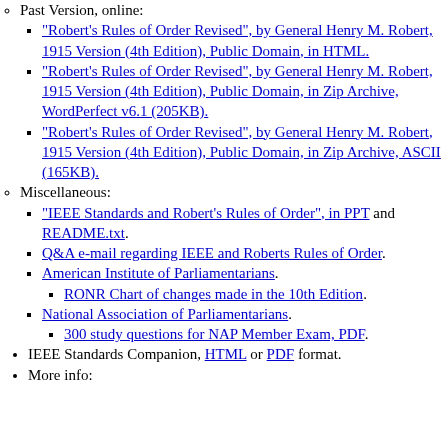Past Version, online:
"Robert's Rules of Order Revised", by General Henry M. Robert, 1915 Version (4th Edition), Public Domain, in HTML.
"Robert's Rules of Order Revised", by General Henry M. Robert, 1915 Version (4th Edition), Public Domain, in Zip Archive, WordPerfect v6.1 (205KB).
"Robert's Rules of Order Revised", by General Henry M. Robert, 1915 Version (4th Edition), Public Domain, in Zip Archive, ASCII (165KB).
Miscellaneous:
"IEEE Standards and Robert's Rules of Order", in PPT and README.txt.
Q&A e-mail regarding IEEE and Roberts Rules of Order.
American Institute of Parliamentarians.
RONR Chart of changes made in the 10th Edition.
National Association of Parliamentarians.
300 study questions for NAP Member Exam, PDF.
IEEE Standards Companion, HTML or PDF format.
More info: